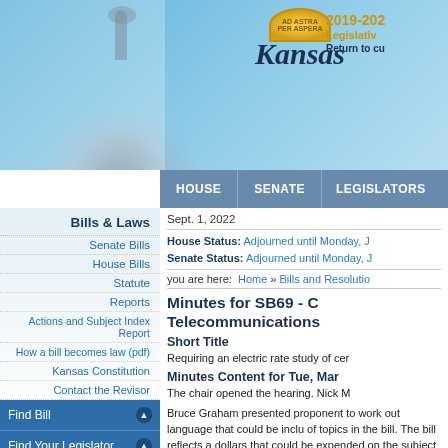[Figure (screenshot): Kansas state government website header with Capitol dome background, Kansas seal/logo, and navigation elements]
2019-202 Legislative Return to cu
HOUSE  SENATE  LEGISLATORS
Bills & Laws
Senate Bills
House Bills
Statute
Reports
Actions and Subject Index Report
How a bill becomes law (pdf)
Kansas Constitution
Contact the Revisor
Find Bill
Find Your Legislator
Legislative Deadlines
Current Events
Statute
Legislative Resources
Sept. 1, 2022
House Status: Adjourned until Monday, J
Senate Status: Adjourned until Monday, J
you are here: Home » Bills and Resolutio
Minutes for SB69 - C Telecommunications
Short Title
Requiring an electric rate study of cer
Minutes Content for Tue, Mar
The chair opened the hearing. Nick M
Bruce Graham presented proponent to work out language that could be inclu of topics in the bill. The bill reflects a dollars that could be expended on the subject to more that 20 percent of the
Kevin Bryant gave proponent testimo